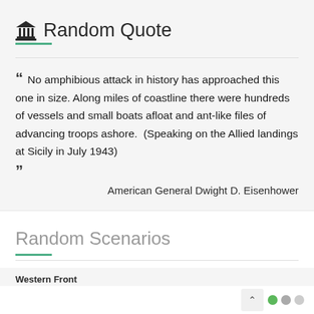🏛 Random Quote
No amphibious attack in history has approached this one in size. Along miles of coastline there were hundreds of vessels and small boats afloat and ant-like files of advancing troops ashore.  (Speaking on the Allied landings at Sicily in July 1943)
American General Dwight D. Eisenhower
Random Scenarios
Western Front